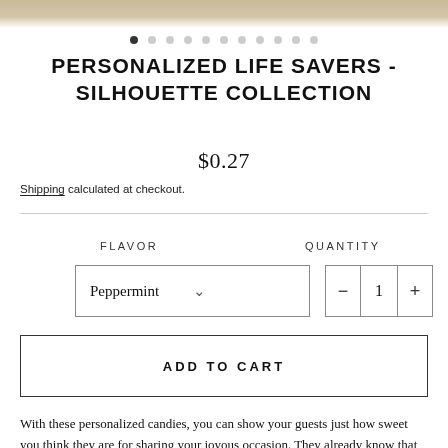[Figure (photo): Product image strip at top of page, partially visible, showing a tan/beige textured surface]
PERSONALIZED LIFE SAVERS - SILHOUETTE COLLECTION
$0.27
Shipping calculated at checkout.
FLAVOR
Peppermint
QUANTITY
1
ADD TO CART
With these personalized candies, you can show your guests just how sweet you think they are for sharing your joyous occasion. They already know that you and your other half are "mint" to be